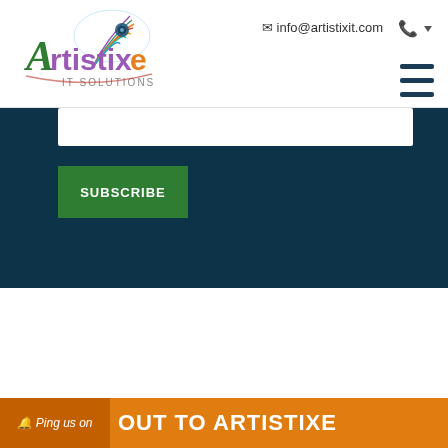[Figure (logo): Artistixe IT Solutions logo with colorful peacock feather and stylized text]
✉ info@artistixit.com
[Figure (other): Phone icon and dropdown arrow, hamburger menu icon]
[Figure (other): Dark teal subscribe section with white input bar and green SUBSCRIBE button]
SUBSCRIBE
🔔 Ping us on   OUT TO ARTISTIXE